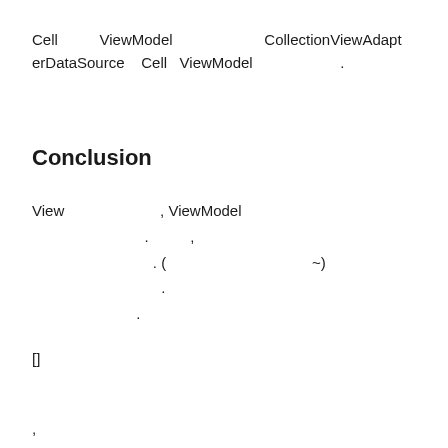Cell        ViewModel                    CollectionViewAdapterDataSource    Cell  ViewModel                    .
Conclusion
View                        , ViewModel                              .          ,                        . (                                          ~)                          .                        .
[]
,